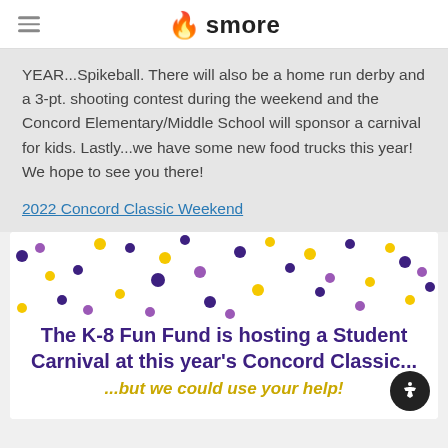smore
YEAR...Spikeball. There will also be a home run derby and a 3-pt. shooting contest during the weekend and the Concord Elementary/Middle School will sponsor a carnival for kids. Lastly...we have some new food trucks this year! We hope to see you there!
2022 Concord Classic Weekend
[Figure (illustration): Promotional card with colorful confetti dots (purple, gold, dark purple) on white background, with text: 'The K-8 Fun Fund is hosting a Student Carnival at this year's Concord Classic... ...but we could use your help!']